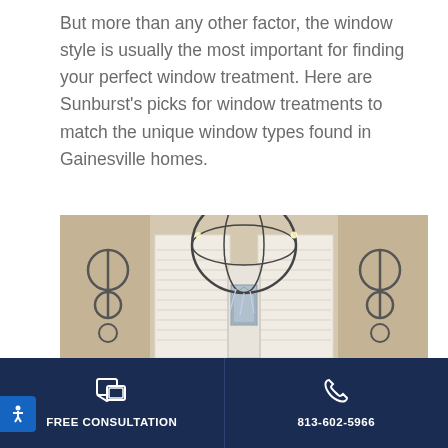But more than any other factor, the window style is usually the most important for finding your perfect window treatment. Here are Sunburst's picks for window treatments to match the unique window types found in Gainesville homes.
[Figure (photo): Interior photo of a foyer with white plantation shutters on windows flanking a decorative glass front door, with an ornate spherical chandelier hanging from the ceiling and decorative metal wall art on either side.]
FREE CONSULTATION
813-602-5966